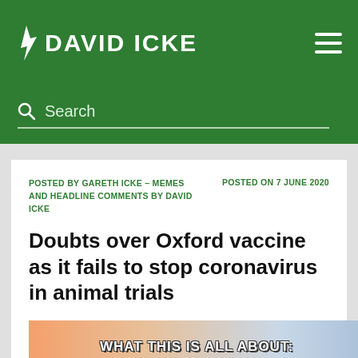DAVID ICKE
Search
POSTED BY GARETH ICKE – MEMES AND HEADLINE COMMENTS BY DAVID ICKE    POSTED ON 7 JUNE 2020
Doubts over Oxford vaccine as it fails to stop coronavirus in animal trials
[Figure (photo): Meme image with orange and blue background showing text 'WHAT THIS IS ALL ABOUT: FASCIST CONTROL']